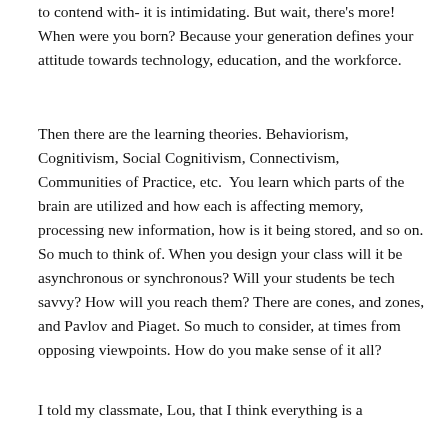to contend with- it is intimidating. But wait, there's more! When were you born? Because your generation defines your attitude towards technology, education, and the workforce.
Then there are the learning theories. Behaviorism, Cognitivism, Social Cognitivism, Connectivism, Communities of Practice, etc.  You learn which parts of the brain are utilized and how each is affecting memory, processing new information, how is it being stored, and so on. So much to think of. When you design your class will it be asynchronous or synchronous? Will your students be tech savvy? How will you reach them? There are cones, and zones, and Pavlov and Piaget. So much to consider, at times from opposing viewpoints. How do you make sense of it all?
I told my classmate, Lou, that I think everything is a